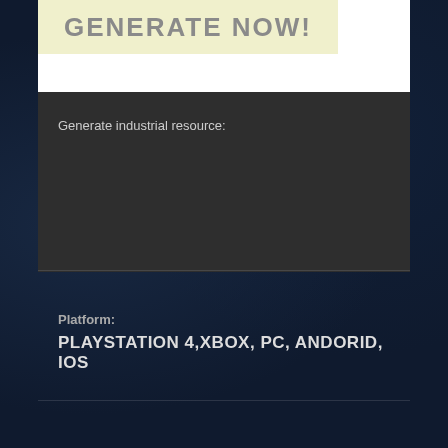GENERATE NOW!
Generate industrial resource:
Platform:
PLAYSTATION 4,XBOX, PC, ANDORID, IOS